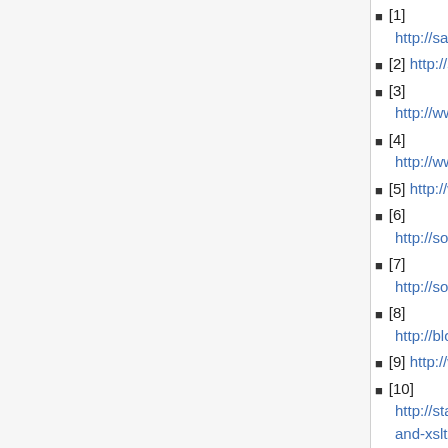[1] http://saxon.sourceforge.net
[2] http://saxonica.com
[3] http://www.saxonica.com/feature-matrix.html
[4] http://www.altova.com/altovaxml.html
[5] http://www-01.ibm.com/software/webservers/appse
[6] http://software.intel.com/en-us/articles/intel-soa-expressway-xslt-20-processor/
[7] http://sourceforge.net/projects/gestalt/
[8] http://blogs.oracle.com/rammenon/2007
[9] http://www.exslt.org/
[10] http://stackoverflow.com/questions/1525 and-xslt-2-0-for-net